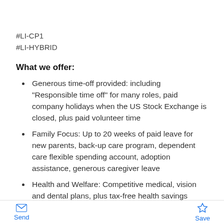#LI-CP1
#LI-HYBRID
What we offer:
Generous time-off provided: including "Responsible time off" for many roles, paid company holidays when the US Stock Exchange is closed, plus paid volunteer time
Family Focus: Up to 20 weeks of paid leave for new parents, back-up care program, dependent care flexible spending account, adoption assistance, generous caregiver leave
Health and Welfare: Competitive medical, vision and dental plans, plus tax-free health savings accounts with company contributions
Send   Save